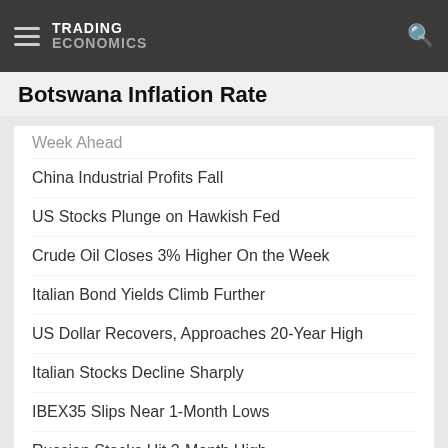TRADING ECONOMICS
Botswana Inflation Rate
Week Ahead
China Industrial Profits Fall
US Stocks Plunge on Hawkish Fed
Crude Oil Closes 3% Higher On the Week
Italian Bond Yields Climb Further
US Dollar Recovers, Approaches 20-Year High
Italian Stocks Decline Sharply
IBEX35 Slips Near 1-Month Lows
Russian Stocks Hit 2-Month High
South African Stocks End Slightly Down